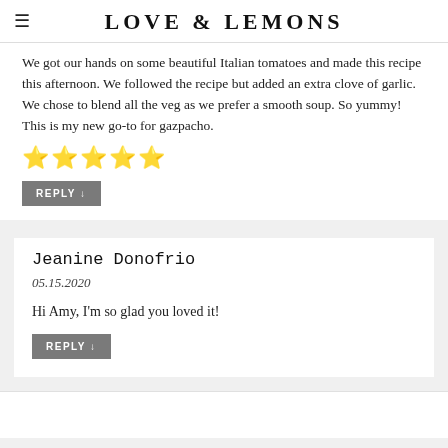LOVE & LEMONS
We got our hands on some beautiful Italian tomatoes and made this recipe this afternoon. We followed the recipe but added an extra clove of garlic. We chose to blend all the veg as we prefer a smooth soup. So yummy! This is my new go-to for gazpacho.
★★★★★
REPLY ↓
Jeanine Donofrio
05.15.2020
Hi Amy, I'm so glad you loved it!
REPLY ↓